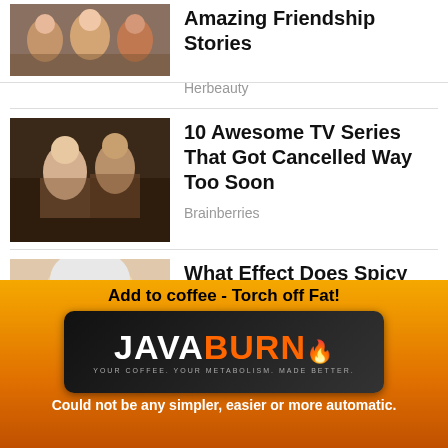[Figure (photo): Group of people smiling together, friendship scene]
Amazing Friendship Stories
Herbeauty
[Figure (photo): Couple in period costume, romantic TV drama scene]
10 Awesome TV Series That Got Cancelled Way Too Soon
Brainberries
[Figure (photo): Woman with henna hand covering face, wearing white headscarf]
What Effect Does Spicy Food Have On The Body?
Brainberries
While it may be your life's mission to push boundaries of life, the
[Figure (advertisement): Java Burn coffee supplement advertisement with orange/yellow gradient background]
Add to coffee - Torch off Fat!
Could not be any simpler, easier or more automatic.